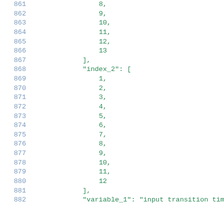861–882: Code listing showing JSON array values 8–13 for unnamed array, then index_2 array with values 1–12, followed by variable_1 key start